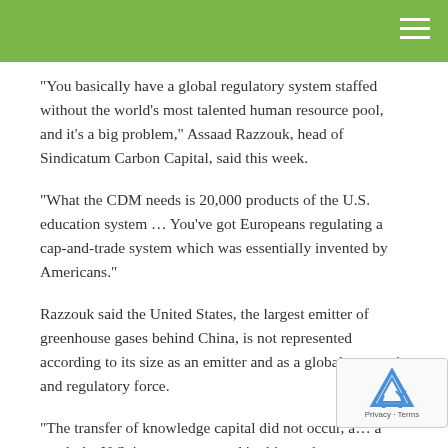“You basically have a global regulatory system staffed without the world’s most talented human resource pool, and it’s a big problem,” Assaad Razzouk, head of Sindicatum Carbon Capital, said this week.
“What the CDM needs is 20,000 products of the U.S. education system … You’ve got Europeans regulating a cap-and-trade system which was essentially invented by Americans.”
Razzouk said the United States, the largest emitter of greenhouse gases behind China, is not represented according to its size as an emitter and as a global economic and regulatory force.
“The transfer of knowledge capital did not occur, a… a result the U.S. is not represented in this market